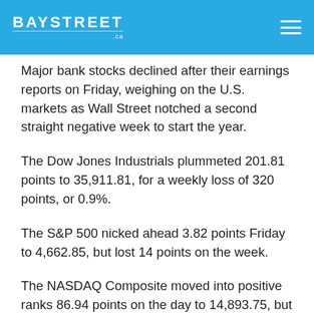BAYSTREET .ca
Major bank stocks declined after their earnings reports on Friday, weighing on the U.S. markets as Wall Street notched a second straight negative week to start the year.
The Dow Jones Industrials plummeted 201.81 points to 35,911.81, for a weekly loss of 320 points, or 0.9%.
The S&P 500 nicked ahead 3.82 points Friday to 4,662.85, but lost 14 points on the week.
The NASDAQ Composite moved into positive ranks 86.94 points on the day to 14,893.75, but surrendered 42 points on the week.
U.S. markets will be closed Monday for Martin Luther King